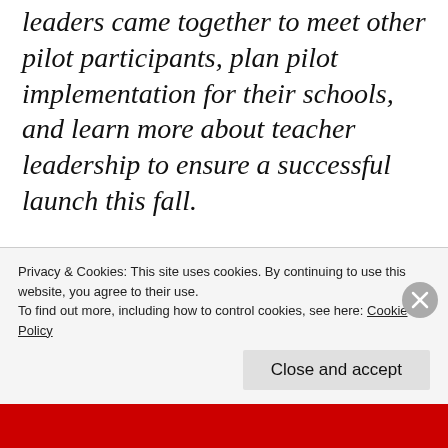leaders came together to meet other pilot participants, plan pilot implementation for their schools, and learn more about teacher leadership to ensure a successful launch this fall.
“Being a novice teacher can be overwhelming at first, especially when it comes to lesson planning and classroom management. That’s why we want to use
Privacy & Cookies: This site uses cookies. By continuing to use this website, you agree to their use. To find out more, including how to control cookies, see here: Cookie Policy
Close and accept